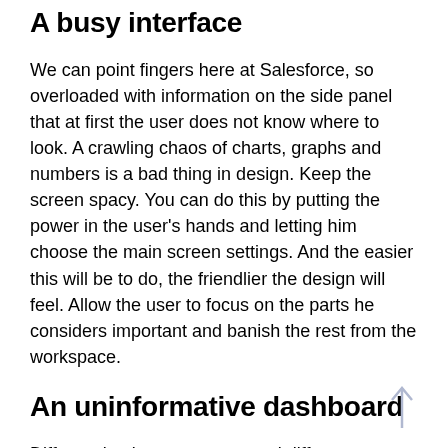A busy interface
We can point fingers here at Salesforce, so overloaded with information on the side panel that at first the user does not know where to look. A crawling chaos of charts, graphs and numbers is a bad thing in design. Keep the screen spacy. You can do this by putting the power in the user's hands and letting him choose the main screen settings. And the easier this will be to do, the friendlier the design will feel. Allow the user to focus on the parts he considers important and banish the rest from the workspace.
An uninformative dashboard
Different business sectors need different analytics. Before you start working on the dashboard's CRM design, you need to know what information will be relevant. The service sector will want rescheduling info,